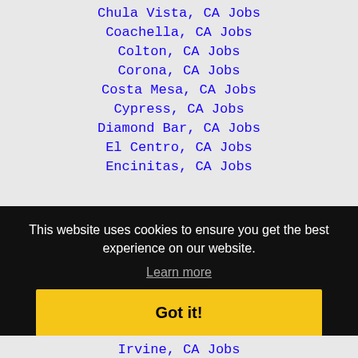Chula Vista, CA Jobs
Coachella, CA Jobs
Colton, CA Jobs
Corona, CA Jobs
Costa Mesa, CA Jobs
Cypress, CA Jobs
Diamond Bar, CA Jobs
El Centro, CA Jobs
Encinitas, CA Jobs
This website uses cookies to ensure you get the best experience on our website.
Learn more
Got it!
Irvine, CA Jobs